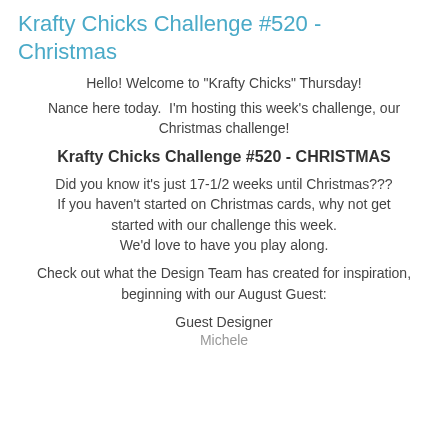Krafty Chicks Challenge #520 - Christmas
Hello! Welcome to "Krafty Chicks" Thursday!
Nance here today.  I'm hosting this week's challenge, our Christmas challenge!
Krafty Chicks Challenge #520 - CHRISTMAS
Did you know it's just 17-1/2 weeks until Christmas??? If you haven't started on Christmas cards, why not get started with our challenge this week. We'd love to have you play along.
Check out what the Design Team has created for inspiration, beginning with our August Guest:
Guest Designer
Michele